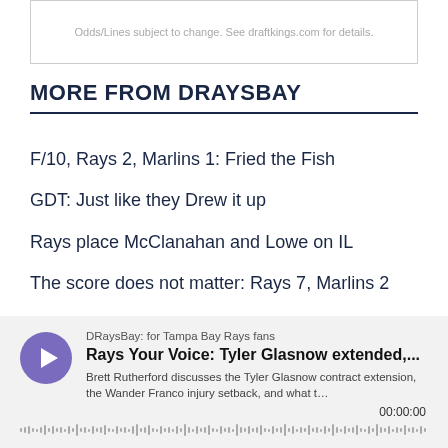Odds/Lines subject to change. See draftkings.com for details.
MORE FROM DRAYSBAY
F/10, Rays 2, Marlins 1: Fried the Fish
GDT: Just like they Drew it up
Rays place McClanahan and Lowe on IL
The score does not matter: Rays 7, Marlins 2
GDT: Citrus! Series! Will! Never! End!
Rays Series Preview: Two more with the Marlins
[Figure (other): Podcast player widget for DRaysBay podcast. Shows play button, podcast title 'Rays Your Voice: Tyler Glasnow extended,...', source 'DRaysBay: for Tampa Bay Rays fans', description text 'Brett Rutherford discusses the Tyler Glasnow contract extension, the Wander Franco injury setback, and what t...', timestamp '00:00:00', and a waveform scrubber bar.]